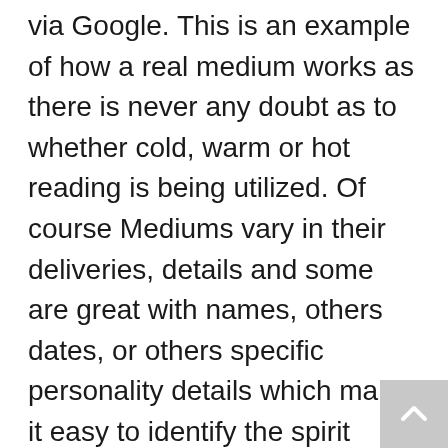via Google. This is an example of how a real medium works as there is never any doubt as to whether cold, warm or hot reading is being utilized. Of course Mediums vary in their deliveries, details and some are great with names, others dates, or others specific personality details which make it easy to identify the spirit visitor. The fabulous UK healing medium Gordon Higginson used to thrill his audiences by obtaining detailed addresses and towns. The spirit world used his knowledge as a career postal worker to give the most detailed of evidence! There are clips of Mr. Higginson on You tube now that are amazing,